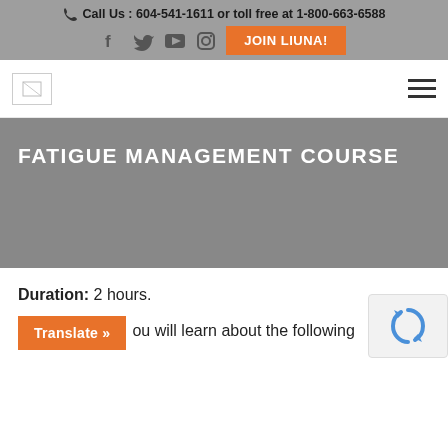Call Us : 604-541-1611 or toll free at 1-800-663-6588
[Figure (logo): Social media icons: Facebook, Twitter, YouTube, Instagram, and orange JOIN LIUNA! button]
[Figure (logo): Small logo placeholder image top left, hamburger menu icon top right]
FATIGUE MANAGEMENT COURSE
Duration: 2 hours.
Translate »
ou will learn about the following